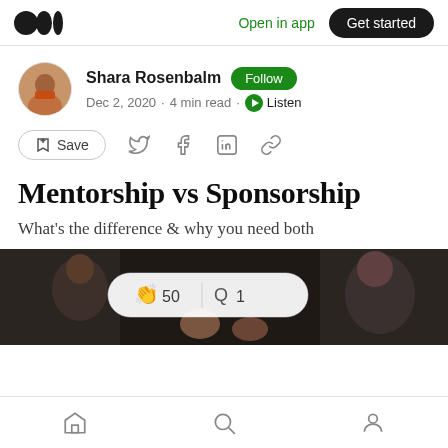Open in app | Get started
Shara Rosenbalm  Follow
Dec 2, 2020 · 4 min read · Listen
Save
Mentorship vs Sponsorship
What's the difference & why you need both
[Figure (photo): Two people in conversation, clapping engagement overlay showing 50 claps and 1 comment]
Home | Search | Profile